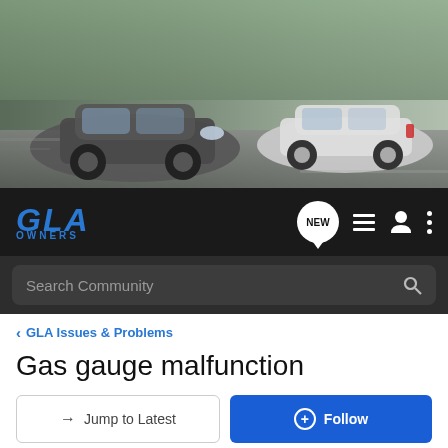[Figure (photo): Banner photo showing two Mercedes-Benz GLA SUVs driving on a road — a dark grey one on the left and a white one on the right]
GLA OWNERS — navigation bar with NEW chat icon, list icon, user icon, and menu dots, plus Search Community bar
GLA Issues & Problems
Gas gauge malfunction
→ Jump to Latest
+ Follow
1 - 9 of 9 Posts
Boxster986S · Retired Moderator
Joined Dec 4, 2014 · 378 Posts